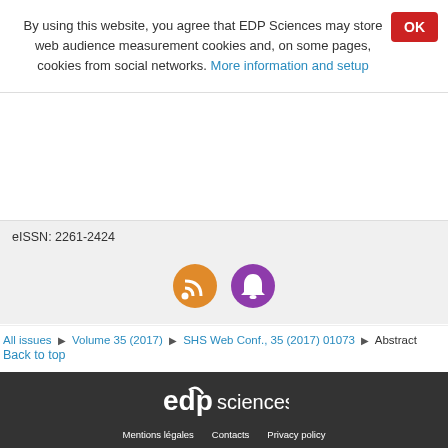By using this website, you agree that EDP Sciences may store web audience measurement cookies and, on some pages, cookies from social networks. More information and setup
eISSN: 2261-2424
[Figure (illustration): Two circular icons: orange RSS feed icon and purple notification bell icon]
All issues ▶ Volume 35 (2017) ▶ SHS Web Conf., 35 (2017) 01073 ▶ Abstract
Back to top
EDP Sciences footer with logo, Mentions légales, Contacts, Privacy policy links and A Vision4Press website